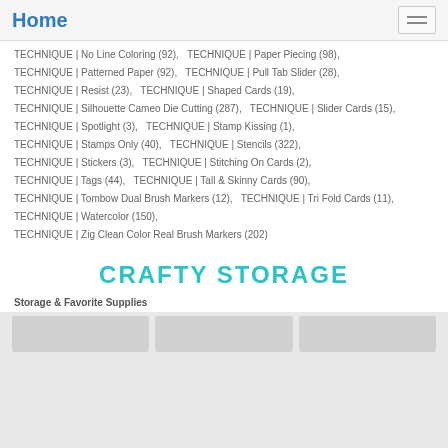Home
TECHNIQUE | No Line Coloring (92),  TECHNIQUE | Paper Piecing (98),
TECHNIQUE | Patterned Paper (92),  TECHNIQUE | Pull Tab Slider (28),
TECHNIQUE | Resist (23),  TECHNIQUE | Shaped Cards (19),
TECHNIQUE | Silhouette Cameo Die Cutting (287),  TECHNIQUE | Slider Cards (15),
TECHNIQUE | Spotlight (3),  TECHNIQUE | Stamp Kissing (1),
TECHNIQUE | Stamps Only (40),  TECHNIQUE | Stencils (322),
TECHNIQUE | Stickers (3),  TECHNIQUE | Stitching On Cards (2),
TECHNIQUE | Tags (44),  TECHNIQUE | Tall & Skinny Cards (90),
TECHNIQUE | Tombow Dual Brush Markers (12),  TECHNIQUE | Tri Fold Cards (11),
TECHNIQUE | Watercolor (150),
TECHNIQUE | Zig Clean Color Real Brush Markers (202)
CRAFTY STORAGE
Storage & Favorite Supplies
[Figure (photo): Three thumbnail images partially visible at bottom of page]